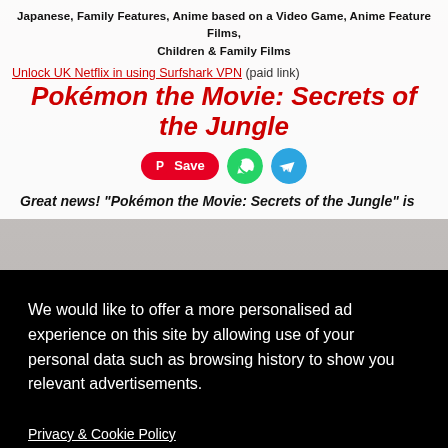Japanese, Family Features, Anime based on a Video Game, Anime Feature Films, Children & Family Films
Unlock UK Netflix in using Surfshark VPN (paid link)
Pokémon the Movie: Secrets of the Jungle
[Figure (screenshot): Social share buttons: Pinterest Save button, WhatsApp icon, Telegram icon]
Great news! "Pokémon the Movie: Secrets of the Jungle" is
We would like to offer a more personalised ad experience on this site by allowing use of your personal data such as browsing history to show you relevant advertisements.
Privacy & Cookie Policy
No thanks
I AGREE
e Last
ts of the
When he d -- and a plot threatening his home!